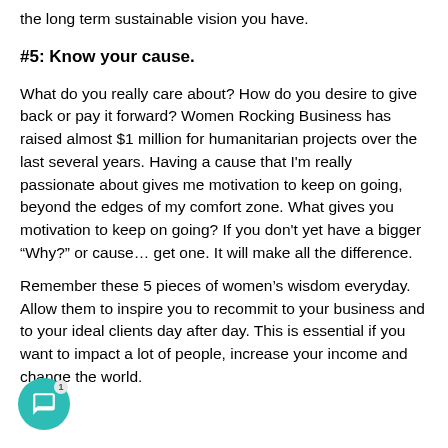the long term sustainable vision you have.
#5: Know your cause.
What do you really care about? How do you desire to give back or pay it forward? Women Rocking Business has raised almost $1 million for humanitarian projects over the last several years. Having a cause that I'm really passionate about gives me motivation to keep on going, beyond the edges of my comfort zone. What gives you motivation to keep on going? If you don't yet have a bigger “Why?” or cause… get one. It will make all the difference.
Remember these 5 pieces of women’s wisdom everyday. Allow them to inspire you to recommit to your business and to your ideal clients day after day. This is essential if you want to impact a lot of people, increase your income and change the world.